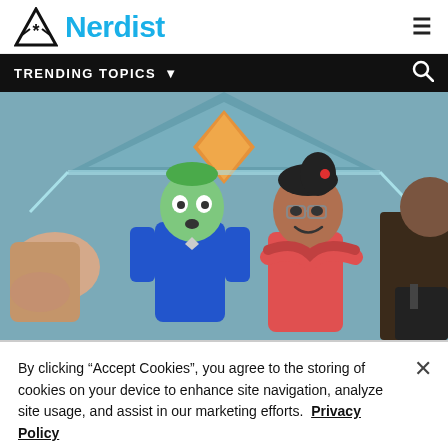[Figure (logo): Nerdist logo with triangle/asterisk icon and blue Nerdist text, hamburger menu icon on right]
TRENDING TOPICS ▼
[Figure (screenshot): Animated cartoon scene showing Star Trek Lower Decks characters: a green-skinned alien in blue uniform looking surprised, and a woman with glasses in red uniform with arms crossed, on a spaceship bridge with teal/blue walls and orange diamond shape above]
By clicking “Accept Cookies”, you agree to the storing of cookies on your device to enhance site navigation, analyze site usage, and assist in our marketing efforts.  Privacy Policy
Cookies Settings
Accept Cookies